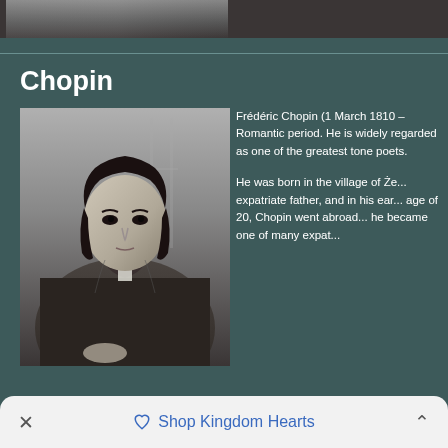[Figure (photo): Top cropped portion of a black and white photograph, partially visible at top of page]
Chopin
[Figure (photo): Black and white portrait photograph of Frédéric Chopin, showing him in a dark coat with a bow tie, seated, with a serious expression]
Frédéric Chopin (1 March 1810 – Romantic period. He is widely regarded as one of the greatest tone poets.

He was born in the village of Że... expatriate father, and in his ear... age of 20, Chopin went abroad... he became one of many expat...
× Shop Kingdom Hearts ^